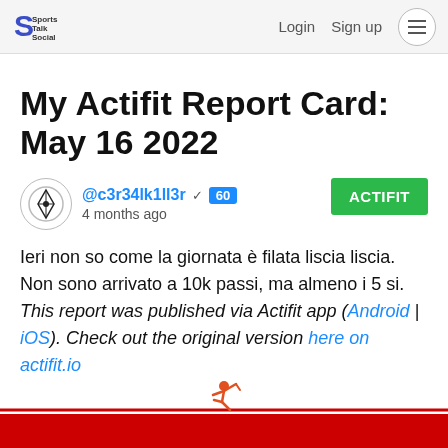Sports Talk Social | Login  Sign up
My Actifit Report Card: May 16 2022
@c3r34lk1ll3r  60  4 months ago  ACTIFIT
Ieri non so come la giornata è filata liscia liscia. Non sono arrivato a 10k passi, ma almeno i 5 si. This report was published via Actifit app (Android | iOS). Check out the original version here on actifit.io
[Figure (illustration): Running person icon in red/orange above a red horizontal bar, with a red footer bar at the bottom]